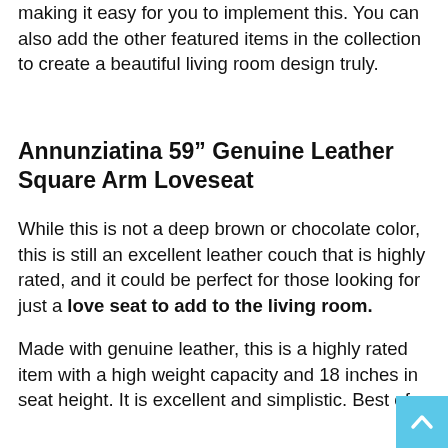making it easy for you to implement this. You can also add the other featured items in the collection to create a beautiful living room design truly.
Annunziatina 59” Genuine Leather Square Arm Loveseat
While this is not a deep brown or chocolate color, this is still an excellent leather couch that is highly rated, and it could be perfect for those looking for just a love seat to add to the living room.
Made with genuine leather, this is a highly rated item with a high weight capacity and 18 inches in seat height. It is excellent and simplistic. Best of